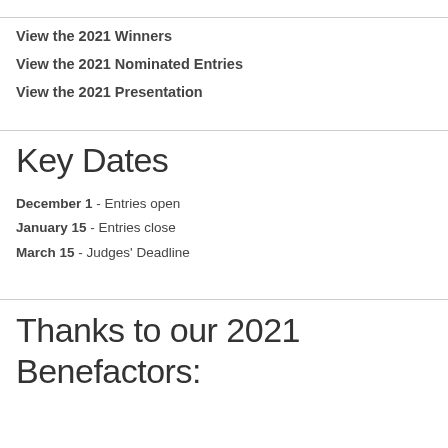View the 2021 Winners
View the 2021 Nominated Entries
View the 2021 Presentation
Key Dates
December 1 - Entries open
January 15 - Entries close
March 15 - Judges' Deadline
Thanks to our 2021 Benefactors: